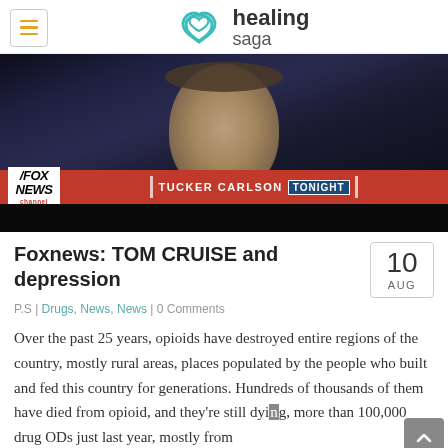healing saga
[Figure (screenshot): Fox News screenshot showing a man's face (Tucker Carlson Tonight segment) with Fox News channel logo and red banner reading 'TUCKER CARLSON TONIGHT']
Foxnews: TOM CRUISE and depression
P.S | Drugs, News, News | 0 Comments
Over the past 25 years, opioids have destroyed entire regions of the country, mostly rural areas, places populated by the people who built and fed this country for generations. Hundreds of thousands of them have died from opioid, and they're still dying, more than 100,000 drug ODs just last year, mostly from